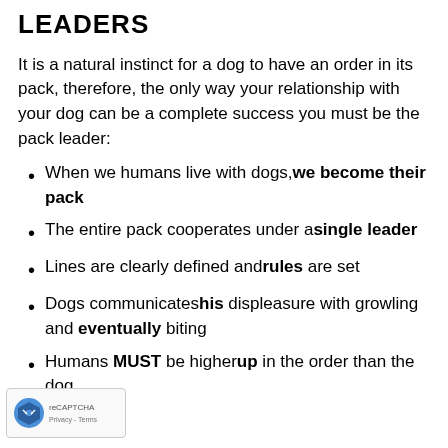LEADERS
It is a natural instinct for a dog to have an order in its pack, therefore, the only way your relationship with your dog can be a complete success you must be the pack leader:
When we humans live with dogs, we become their pack
The entire pack cooperates under a single leader
Lines are clearly defined and rules are set
Dogs communicates his displeasure with growling and eventually biting
Humans MUST be higher up in the order than the dog.